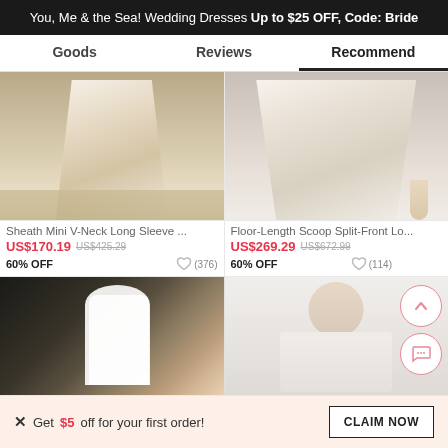You, Me & the Sea! Wedding Dresses Up to $25 OFF, Code: Bride
Goods | Reviews | Recommend
[Figure (photo): Two product photos: left shows bottom of a white sheath wedding dress on sandy beach; right shows bottom of a lace floor-length dress with slit and heels on pavement]
Sheath Mini V-Neck Long Sleeve ...
US$170.19   US$425.29
60% OFF   (376)
Floor-Length Scoop Split-Front Lo...
US$269.29   US$672.99
60% OFF   (114)
[Figure (photo): Left: outdoor photo of a bride with long blonde hair in a white dress with wedding party in background. Right: female model in white lace wedding gown with illusion neckline.]
Get $5 off for your first order!
CLAIM NOW
573   ADD TO BAG